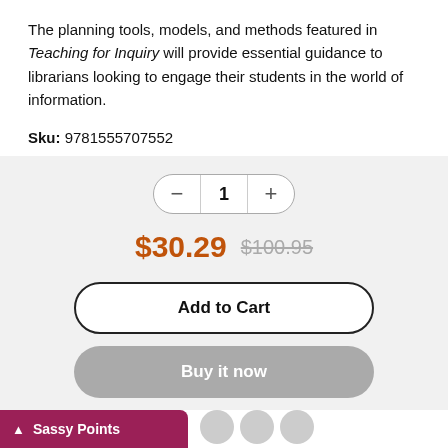The planning tools, models, and methods featured in Teaching for Inquiry will provide essential guidance to librarians looking to engage their students in the world of information.
Sku: 9781555707552
[Figure (screenshot): E-commerce product purchase widget showing quantity selector with minus and plus buttons, sale price $30.29 in orange with original price $100.95 struck through in grey, Add to Cart button with black border, and grey Buy it now button]
Sassy Points